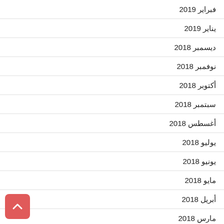فبراير 2019
يناير 2019
ديسمبر 2018
نوفمبر 2018
أكتوبر 2018
سبتمبر 2018
أغسطس 2018
يوليو 2018
يونيو 2018
مايو 2018
أبريل 2018
مارس 2018
فبراير 2018
يناير 2018
ديسمبر 2017